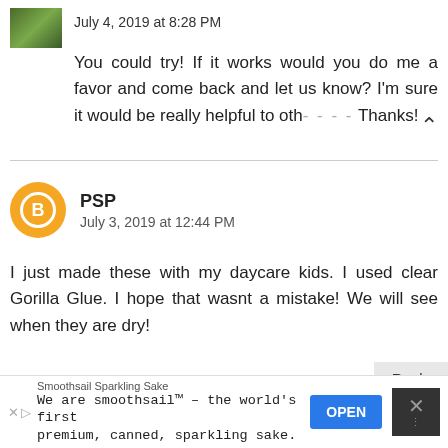[Figure (photo): Small thumbnail avatar image showing outdoor/nature scene]
July 4, 2019 at 8:28 PM
You could try! If it works would you do me a favor and come back and let us know? I'm sure it would be really helpful to oth---- Thanks!
[Figure (logo): Blogger B logo circle avatar in orange for user PSP]
PSP
July 3, 2019 at 12:44 PM
I just made these with my daycare kids. I used clear Gorilla Glue. I hope that wasnt a mistake! We will see when they are dry!
Reply
[Figure (photo): Small thumbnail avatar for TheJerseyMomma]
TheJerseyMomma
Smoothsail Sparkling Sake
We are smoothsail™ – the world's first premium, canned, sparkling sake.
OPEN